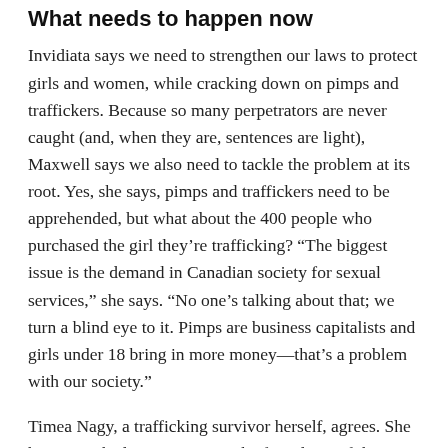What needs to happen now
Invidiata says we need to strengthen our laws to protect girls and women, while cracking down on pimps and traffickers. Because so many perpetrators are never caught (and, when they are, sentences are light), Maxwell says we also need to tackle the problem at its root. Yes, she says, pimps and traffickers need to be apprehended, but what about the 400 people who purchased the girl they’re trafficking? “The biggest issue is the demand in Canadian society for sexual services,” she says. “No one’s talking about that; we turn a blind eye to it. Pimps are business capitalists and girls under 18 bring in more money—that’s a problem with our society.”
Timea Nagy, a trafficking survivor herself, agrees. She has spent the last 10 years on the front lines of the issue, and she believes that, “everyone needs to know what trafficking is about. As long as it’s a dirty little secret, it